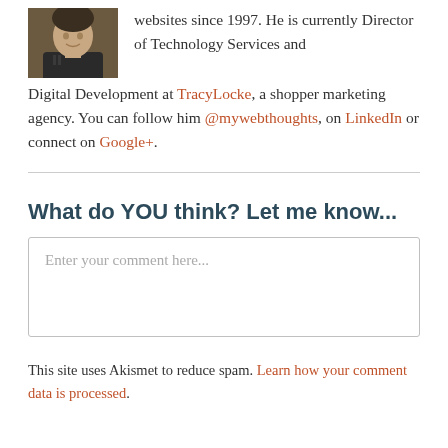[Figure (photo): Small headshot photo of a man in a dark jacket, brown/tan tones]
websites since 1997. He is currently Director of Technology Services and Digital Development at TracyLocke, a shopper marketing agency. You can follow him @mywebthoughts, on LinkedIn or connect on Google+.
What do YOU think? Let me know...
Enter your comment here...
This site uses Akismet to reduce spam. Learn how your comment data is processed.